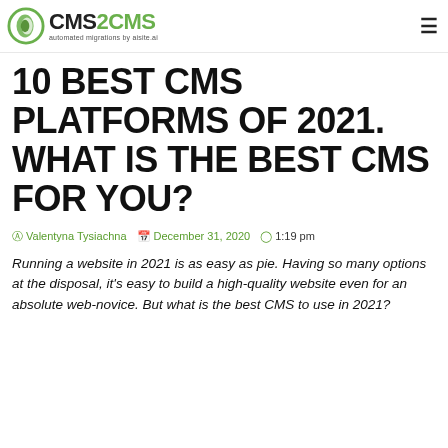CMS2CMS automated migrations by aisite.ai
10 BEST CMS PLATFORMS OF 2021. WHAT IS THE BEST CMS FOR YOU?
Valentyna Tysiachna   December 31, 2020   1:19 pm
Running a website in 2021 is as easy as pie. Having so many options at the disposal, it's easy to build a high-quality website even for an absolute web-novice. But what is the best CMS to use in 2021?